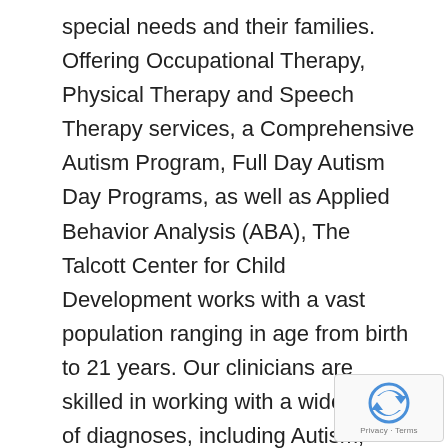special needs and their families. Offering Occupational Therapy, Physical Therapy and Speech Therapy services, a Comprehensive Autism Program, Full Day Autism Day Programs, as well as Applied Behavior Analysis (ABA), The Talcott Center for Child Development works with a vast population ranging in age from birth to 21 years. Our clinicians are skilled in working with a wide range of diagnoses, including Autism, Sensory Processing Disorder and developmental delays. In addition to individual services and group programming, we offer parent education, consultation, evaluations and outside referrals as needed.
For more than a decade, we have committed